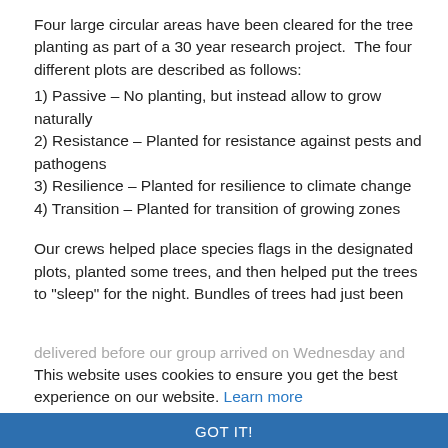Four large circular areas have been cleared for the tree planting as part of a 30 year research project.  The four different plots are described as follows:
1) Passive – No planting, but instead allow to grow naturally
2) Resistance – Planted for resistance against pests and pathogens
3) Resilience – Planted for resilience to climate change
4) Transition – Planted for transition of growing zones
Our crews helped place species flags in the designated plots, planted some trees, and then helped put the trees to "sleep" for the night. Bundles of trees had just been delivered before our group arrived on Wednesday and they couldn't all be planted in that amount of time, so we helped place them in mulch piles so they can stay damp until they are placed in their forever home.
This website uses cookies to ensure you get the best experience on our website. Learn more
GOT IT!
[Figure (photo): Photograph of trees/forest scene at the bottom of the page, partially visible behind cookie banner]